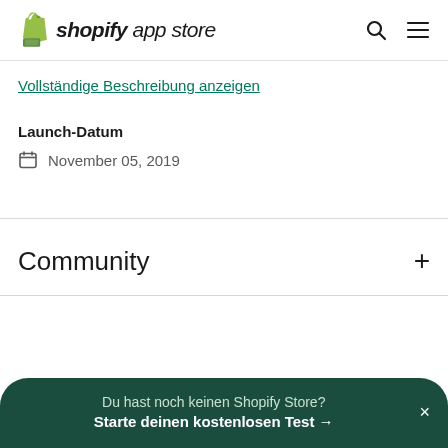shopify app store
Vollständige Beschreibung anzeigen
Launch-Datum
November 05, 2019
Community
Du hast noch keinen Shopify Store? Starte deinen kostenlosen Test →